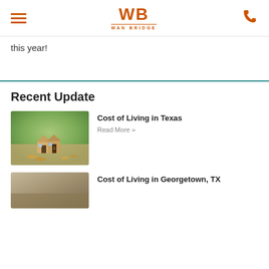WB WAN BRIDGE
this year!
Recent Update
[Figure (photo): Small house models made of coins on a wooden surface with green bokeh background]
Cost of Living in Texas
Read More »
[Figure (photo): Outdoor scene, partially visible]
Cost of Living in Georgetown, TX